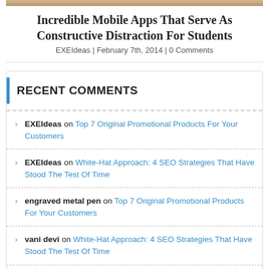[Figure (photo): Image strip at top of card]
Incredible Mobile Apps That Serve As Constructive Distraction For Students
EXEIdeas | February 7th, 2014 | 0 Comments
RECENT COMMENTS
EXEIdeas on Top 7 Original Promotional Products For Your Customers
EXEIdeas on White-Hat Approach: 4 SEO Strategies That Have Stood The Test Of Time
engraved metal pen on Top 7 Original Promotional Products For Your Customers
vani devi on White-Hat Approach: 4 SEO Strategies That Have Stood The Test Of Time
EXEIdeas on Latest/Recent Blog Posts Title List For Blogger/Blogspot